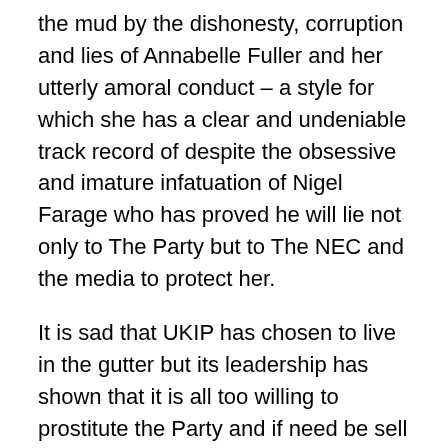the mud by the dishonesty, corruption and lies of Annabelle Fuller and her utterly amoral conduct – a style for which she has a clear and undeniable track record of despite the obsessive and imature infatuation of Nigel Farage who has proved he will lie not only to The Party but to The NEC and the media to protect her.
It is sad that UKIP has chosen to live in the gutter but its leadership has shown that it is all too willing to prostitute the Party and if need be sell out the members for personal gain.
Interestingly Now that he has had the common sense to disassociate himself from the filth in UKIP, particularly in his region Christopher